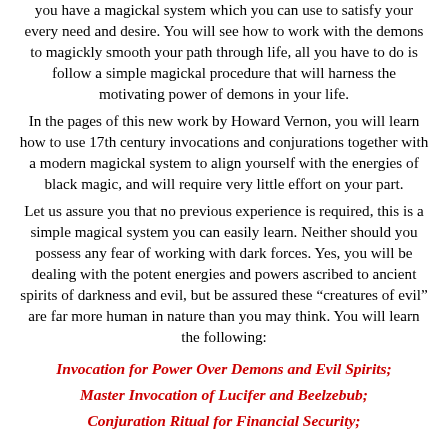you have a magickal system which you can use to satisfy your every need and desire. You will see how to work with the demons to magickly smooth your path through life, all you have to do is follow a simple magickal procedure that will harness the motivating power of demons in your life.
In the pages of this new work by Howard Vernon, you will learn how to use 17th century invocations and conjurations together with a modern magickal system to align yourself with the energies of black magic, and will require very little effort on your part.
Let us assure you that no previous experience is required, this is a simple magical system you can easily learn. Neither should you possess any fear of working with dark forces. Yes, you will be dealing with the potent energies and powers ascribed to ancient spirits of darkness and evil, but be assured these "creatures of evil" are far more human in nature than you may think. You will learn the following:
Invocation for Power Over Demons and Evil Spirits;
Master Invocation of Lucifer and Beelzebub;
Conjuration Ritual for Financial Security;